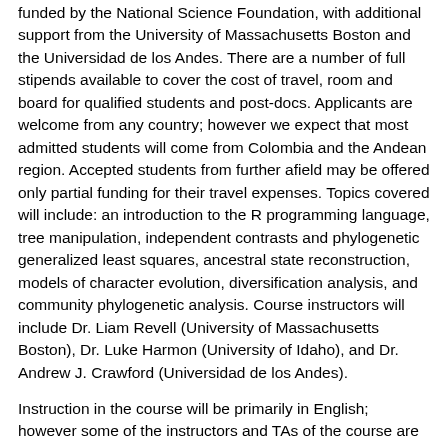funded by the National Science Foundation, with additional support from the University of Massachusetts Boston and the Universidad de los Andes. There are a number of full stipends available to cover the cost of travel, room and board for qualified students and post-docs. Applicants are welcome from any country; however we expect that most admitted students will come from Colombia and the Andean region. Accepted students from further afield may be offered only partial funding for their travel expenses. Topics covered will include: an introduction to the R programming language, tree manipulation, independent contrasts and phylogenetic generalized least squares, ancestral state reconstruction, models of character evolution, diversification analysis, and community phylogenetic analysis. Course instructors will include Dr. Liam Revell (University of Massachusetts Boston), Dr. Luke Harmon (University of Idaho), and Dr. Andrew J. Crawford (Universidad de los Andes).
Instruction in the course will be primarily in English; however some of the instructors and TAs of the course are competent or fluent in Spanish and English. Discussion, exercises, and activities will be conducted in both languages.